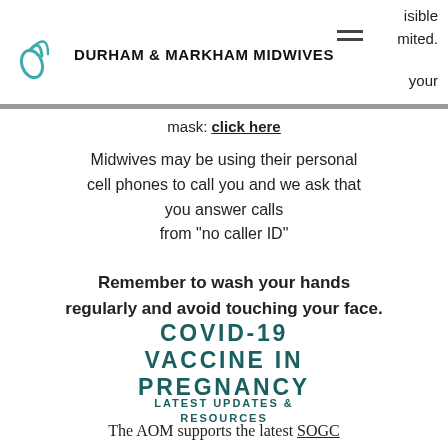DURHAM & MARKHAM MIDWIVES
mask: click here
Midwives may be using their personal cell phones to call you and we ask that you answer calls from "no caller ID"
Remember to wash your hands regularly and avoid touching your face.
COVID-19 VACCINE IN PREGNANCY LATEST UPDATES & RESOURCES
The AOM supports the latest SOGC